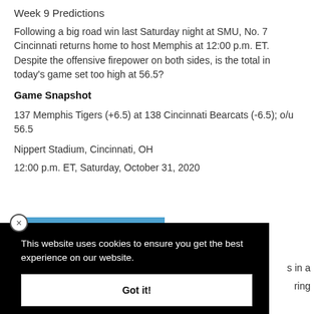Week 9 Predictions
Following a big road win last Saturday night at SMU, No. 7 Cincinnati returns home to host Memphis at 12:00 p.m. ET. Despite the offensive firepower on both sides, is the total in today's game set too high at 56.5?
Game Snapshot
137 Memphis Tigers (+6.5) at 138 Cincinnati Bearcats (-6.5); o/u 56.5
Nippert Stadium, Cincinnati, OH
12:00 p.m. ET, Saturday, October 31, 2020
[Figure (photo): Partial image of a game scene, mostly blue]
This website uses cookies to ensure you get the best experience on our website.
Got it!
s in a
ring
pass from Brady White in the first quarter, and the two